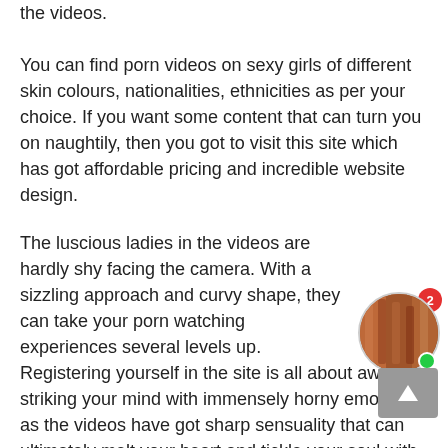the videos.
You can find porn videos on sexy girls of different skin colours, nationalities, ethnicities as per your choice. If you want some content that can turn you on naughtily, then you got to visit this site which has got affordable pricing and incredible website design.
The luscious ladies in the videos are hardly shy facing the camera. With a sizzling approach and curvy shape, they can take your porn watching experiences several levels up.
[Figure (photo): Circular avatar photo of a person with a red notification badge showing '2' and a green online indicator dot]
Registering yourself in the site is all about awe-striking your mind with immensely horny emotions as the videos have got sharp sensuality that can ultimately melt your heart and tickle your soul with the wildest thoughts
[Figure (other): Gray scroll-to-top button with upward chevron arrow]